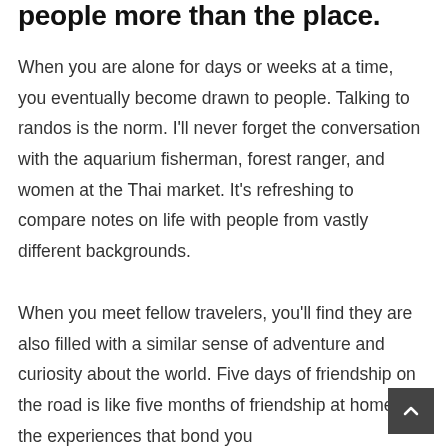people more than the place.
When you are alone for days or weeks at a time, you eventually become drawn to people. Talking to randos is the norm. I'll never forget the conversation with the aquarium fisherman, forest ranger, and women at the Thai market. It's refreshing to compare notes on life with people from vastly different backgrounds.
When you meet fellow travelers, you'll find they are also filled with a similar sense of adventure and curiosity about the world. Five days of friendship on the road is like five months of friendship at home. It's the experiences that bond you